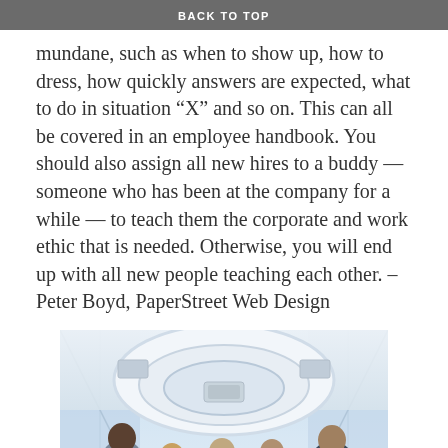BACK TO TOP
mundane, such as when to show up, how to dress, how quickly answers are expected, what to do in situation “X” and so on. This can all be covered in an employee handbook. You should also assign all new hires to a buddy — someone who has been at the company for a while — to teach them the corporate and work ethic that is needed. Otherwise, you will end up with all new people teaching each other. – Peter Boyd, PaperStreet Web Design
[Figure (photo): A group of business professionals in suits having a meeting in a modern office with a large circular white ceiling fixture and large windows letting in bright light.]